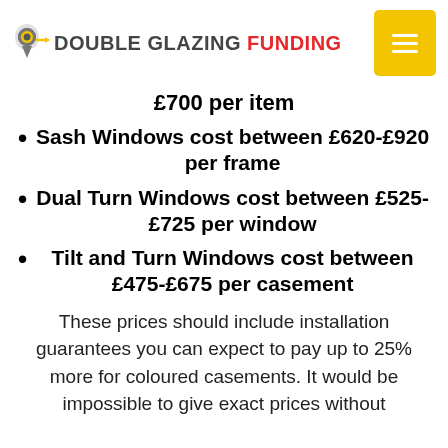DOUBLE GLAZING FUNDING
£700 per item
Sash Windows cost between £620-£920 per frame
Dual Turn Windows cost between £525-£725 per window
Tilt and Turn Windows cost between £475-£675 per casement
These prices should include installation guarantees you can expect to pay up to 25% more for coloured casements. It would be impossible to give exact prices without